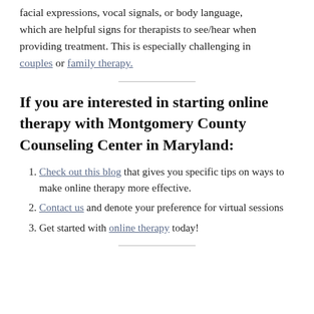facial expressions, vocal signals, or body language, which are helpful signs for therapists to see/hear when providing treatment. This is especially challenging in couples or family therapy.
If you are interested in starting online therapy with Montgomery County Counseling Center in Maryland:
Check out this blog that gives you specific tips on ways to make online therapy more effective.
Contact us and denote your preference for virtual sessions
Get started with online therapy today!